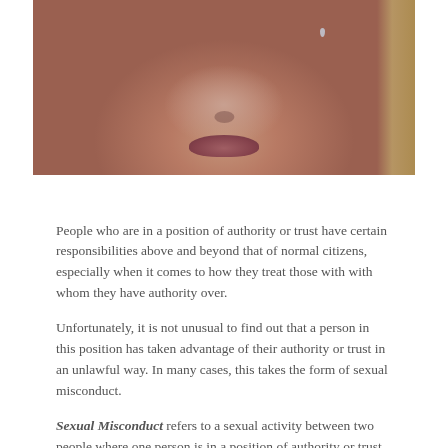[Figure (photo): Close-up photograph of a woman's lower face with a tear on her cheek, light background]
People who are in a position of authority or trust have certain responsibilities above and beyond that of normal citizens, especially when it comes to how they treat those with with whom they have authority over.
Unfortunately, it is not unusual to find out that a person in this position has taken advantage of their authority or trust in an unlawful way. In many cases, this takes the form of sexual misconduct.
Sexual Misconduct refers to a sexual activity between two people where one person is in a position of authority or trust over the other. Some of these